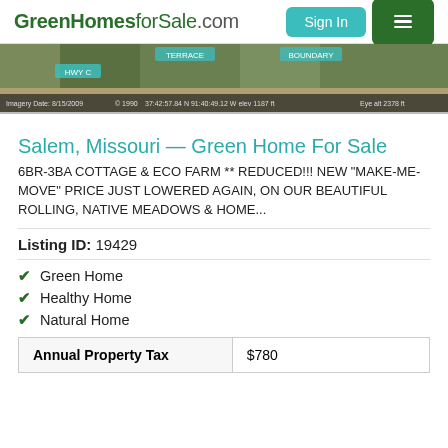GreenHomesforSale.com  Sign In  [menu]
[Figure (screenshot): Partial Google Maps satellite/street view image showing HWY C road, terrain boundary labels, imagery date 8/15/2009, coordinates 37:42:57.84 N 91:40:49.12 W elev 1187 ft, Eye alt 2378 ft]
Salem, Missouri — Green Home For Sale
6BR-3BA COTTAGE & ECO FARM ** REDUCED!!! NEW "MAKE-ME-MOVE" PRICE JUST LOWERED AGAIN, ON OUR BEAUTIFUL ROLLING, NATIVE MEADOWS & HOME...
Listing ID: 19429
Green Home
Healthy Home
Natural Home
| Annual Property Tax | $780 |
| --- | --- |